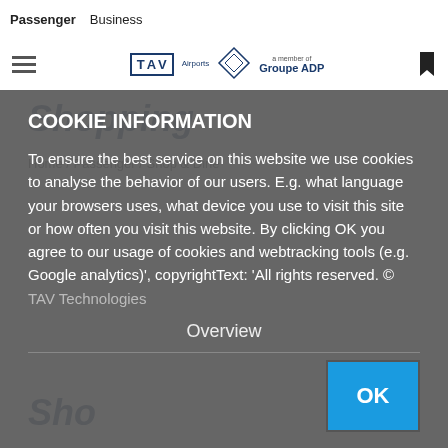Passenger  Business
[Figure (logo): TAV Airports logo with diamond shape and 'a member of Groupe ADP' text]
Shopping
Home / Passenger / Shop & Dine
COOKIE INFORMATION
To ensure the best service on this website we use cookies to analyse the behavior of our users. E.g. what language your browsers uses, what device you use to visit this site or how often you visit this website. By clicking OK you agree to our usage of cookies and webtracking tools (e.g. Google analytics)', copyrightText: 'All rights reserved. © TAV Technologies
Overview
Shopping